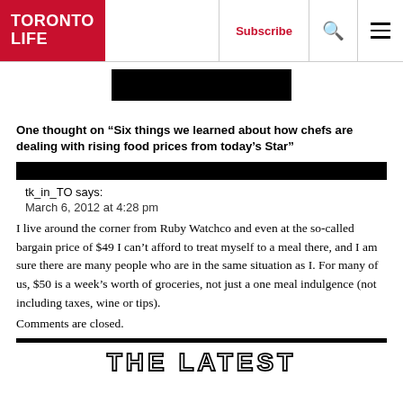TORONTO LIFE | Subscribe
[Figure (other): Redacted black image block]
One thought on “Six things we learned about how chefs are dealing with rising food prices from today’s Star”
tk_in_TO says:
March 6, 2012 at 4:28 pm
I live around the corner from Ruby Watchco and even at the so-called bargain price of $49 I can’t afford to treat myself to a meal there, and I am sure there are many people who are in the same situation as I. For many of us, $50 is a week’s worth of groceries, not just a one meal indulgence (not including taxes, wine or tips).
Comments are closed.
THE LATEST